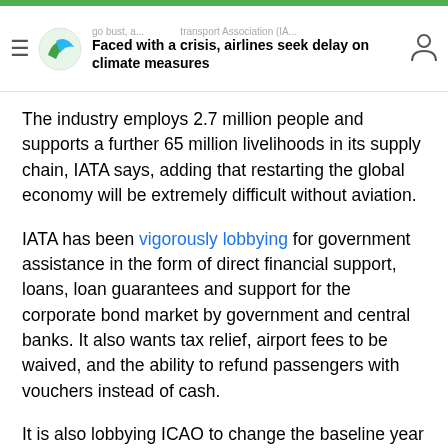Faced with a crisis, airlines seek delay on climate measures
The industry employs 2.7 million people and supports a further 65 million livelihoods in its supply chain, IATA says, adding that restarting the global economy will be extremely difficult without aviation.
IATA has been vigorously lobbying for government assistance in the form of direct financial support, loans, loan guarantees and support for the corporate bond market by government and central banks. It also wants tax relief, airport fees to be waived, and the ability to refund passengers with vouchers instead of cash.
It is also lobbying ICAO to change the baseline year of the CORSIA scheme. Currently, this is 2019/20, but because flights have been reduced, any growth will